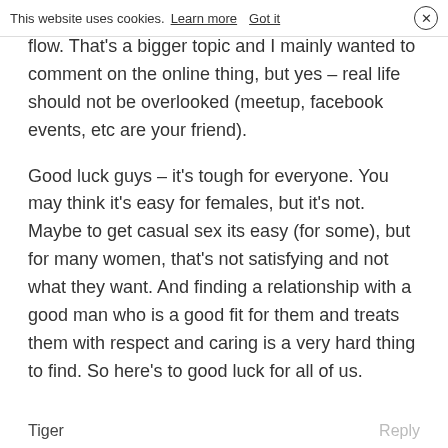This website uses cookies. Learn more   Got it  ×
flow. That's a bigger topic and I mainly wanted to comment on the online thing, but yes – real life should not be overlooked (meetup, facebook events, etc are your friend).
Good luck guys – it's tough for everyone. You may think it's easy for females, but it's not. Maybe to get casual sex its easy (for some), but for many women, that's not satisfying and not what they want. And finding a relationship with a good man who is a good fit for them and treats them with respect and caring is a very hard thing to find. So here's to good luck for all of us.
Tiger   Reply